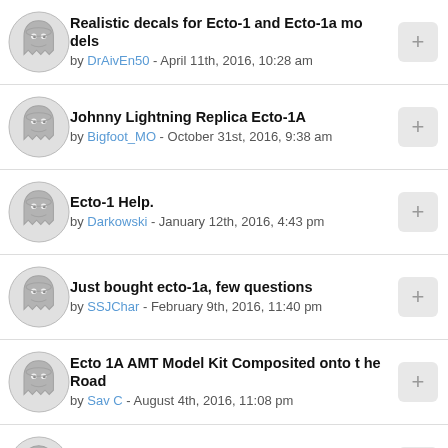Realistic decals for Ecto-1 and Ecto-1a models by DrAivEn50 - April 11th, 2016, 10:28 am
Johnny Lightning Replica Ecto-1A by Bigfoot_MO - October 31st, 2016, 9:38 am
Ecto-1 Help. by Darkowski - January 12th, 2016, 4:43 pm
Just bought ecto-1a, few questions by SSJChar - February 9th, 2016, 11:40 pm
Ecto 1A AMT Model Kit Composited onto the Road by Sav C - August 4th, 2016, 11:08 pm
AMT Ecto-1A Kit by JimR - August 31st, 2016, 7:22 pm